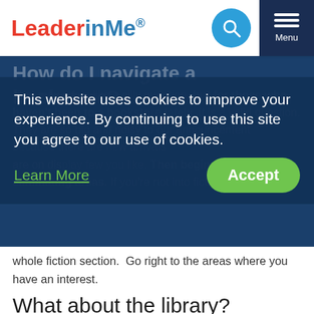[Figure (logo): LeaderInMe logo with red 'Leader' and blue 'inMe.' text]
How do I navigate a bookstore?
That may seem like a silly question, but for those who haven't been to a bookstore lately, it is a valid question.  They are so big and noisy to our announcement because there are new arrivals are on display few you like.  Then begin eliminating areas.  If you're not into fiction, skip the whole fiction section.  Go right to the areas where you have an interest.
This website uses cookies to improve your experience. By continuing to use this site you agree to our use of cookies.
Learn More
Accept
What about the library?
If your budget won't fit books, get a library card.  I le